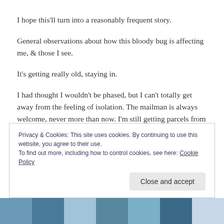I hope this’ll turn into a reasonably frequent story.
General observations about how this bloody bug is affecting me, & those I see.
It’s getting really old, staying in.
I had thought I wouldn’t be phased, but I can’t totally get away from the feeling of isolation. The mailman is always welcome, never more than now. I’m still getting parcels from PRC, from old orders.
Privacy & Cookies: This site uses cookies. By continuing to use this website, you agree to their use.
To find out more, including how to control cookies, see here: Cookie Policy
[Figure (photo): Partial view of a colorful image at the bottom of the page, showing blue tones.]